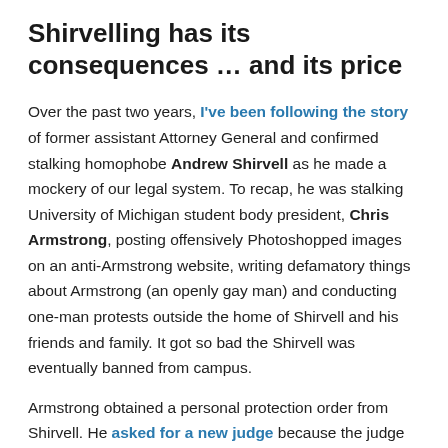Shirvelling has its consequences … and its price
Over the past two years, I've been following the story of former assistant Attorney General and confirmed stalking homophobe Andrew Shirvell as he made a mockery of our legal system. To recap, he was stalking University of Michigan student body president, Chris Armstrong, posting offensively Photoshopped images on an anti-Armstrong website, writing defamatory things about Armstrong (an openly gay man) and conducting one-man protests outside the home of Shirvell and his friends and family. It got so bad the Shirvell was eventually banned from campus.
Armstrong obtained a personal protection order from Shirvell. He asked for a new judge because the judge he